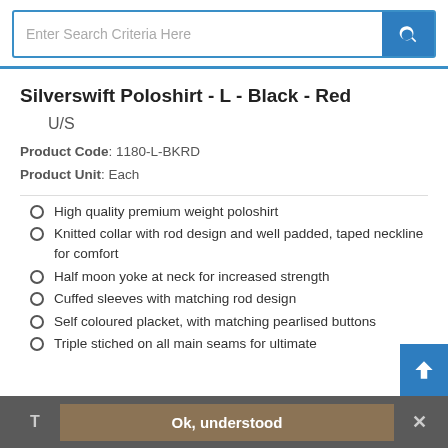Enter Search Criteria Here
Silverswift Poloshirt - L - Black - Red
U/S
Product Code: 1180-L-BKRD
Product Unit: Each
High quality premium weight poloshirt
Knitted collar with rod design and well padded, taped neckline for comfort
Half moon yoke at neck for increased strength
Cuffed sleeves with matching rod design
Self coloured placket, with matching pearlised buttons
Triple stiched on all main seams for ultimate
Ok, understood